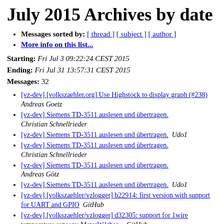July 2015 Archives by date
Messages sorted by: [ thread ] [ subject ] [ author ]
More info on this list...
Starting: Fri Jul 3 09:22:24 CEST 2015
Ending: Fri Jul 31 13:57:31 CEST 2015
Messages: 32
[vz-dev] [volkszaehler.org] Use Highstock to display graph (#238)  Andreas Goetz
[vz-dev] Siemens TD-3511 auslesen und übertragen.  Christian Schnellrieder
[vz-dev] Siemens TD-3511 auslesen und übertragen.  Udo1
[vz-dev] Siemens TD-3511 auslesen und übertragen.  Christian Schnellrieder
[vz-dev] Siemens TD-3511 auslesen und übertragen.  Andreas Götz
[vz-dev] Siemens TD-3511 auslesen und übertragen.  Udo1
[vz-dev] [volkszaehler/vzlogger] b22914: first version with support for UART and GPIO  GitHub
[vz-dev] [volkszaehler/vzlogger] d32305: support for 1wire temperature sensors: MeterW1ther...  GitHub
[vz-dev] [volkszaehler/vzlogger] 47bd79: fix identifier...